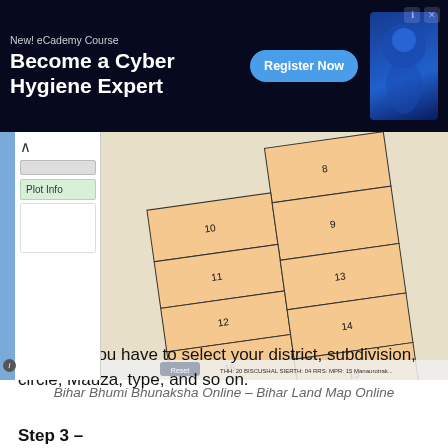[Figure (screenshot): Advertisement banner for NewI eCademy Course - Become a Cyber Hygiene Expert with Register Now button]
[Figure (screenshot): Bihar Bhumi Bhunaksha online map showing numbered land plots (8-20) in an orange/tan color on a grid layout, with a sidebar showing Plot Info panel]
Bihar Bhumi Bhunaksha Online – Bihar Land Map Online
Step 2 – You have to select your district, subdivision, circle, Mauza, type, and so on.
Step 3 –